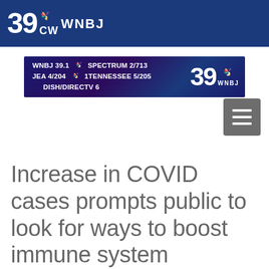[Figure (logo): WNBJ 39 NBC/CW TV station logo on dark blue banner]
[Figure (logo): WNBJ channel info banner: WNBJ 39.1 NBC SPECTRUM 2/713, JEA 4/204 NBC 1TENNESSEE 5/205, DISH/DIRECTV 6, with 39 WNBJ logo on right]
[Figure (other): Hamburger menu icon button (three horizontal lines) on grey square background]
Increase in COVID cases prompts public to look for ways to boost immune system